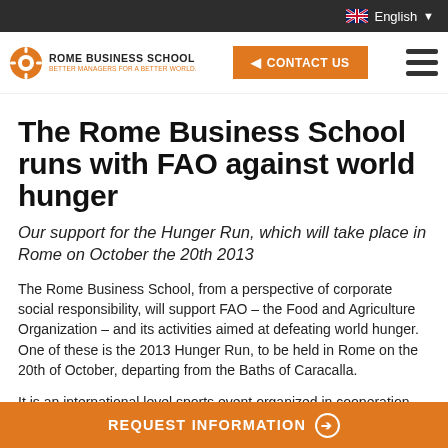English
[Figure (logo): Rome Business School logo with orange wheel icon]
The Rome Business School runs with FAO against world hunger
Our support for the Hunger Run, which will take place in Rome on October the 20th 2013
The Rome Business School, from a perspective of corporate social responsibility, will support FAO – the Food and Agriculture Organization – and its activities aimed at defeating world hunger. One of these is the 2013 Hunger Run, to be held in Rome on the 20th of October, departing from the Baths of Caracalla.
It is an international level sports event organized in cooperation with various countries and institutions, such as
REQUEST INFORMATION